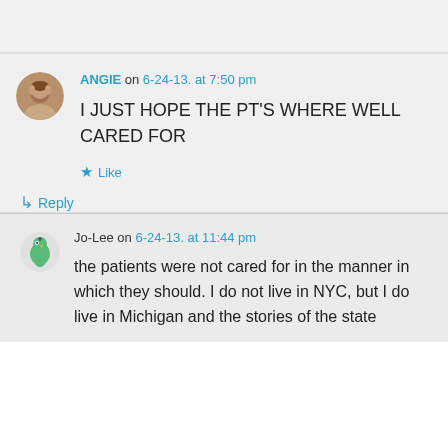ANGIE on 6-24-13. at 7:50 pm
I JUST HOPE THE PT'S WHERE WELL CARED FOR
★ Like
↳ Reply
Jo-Lee on 6-24-13. at 11:44 pm
the patients were not cared for in the manner in which they should. I do not live in NYC, but I do live in Michigan and the stories of the state